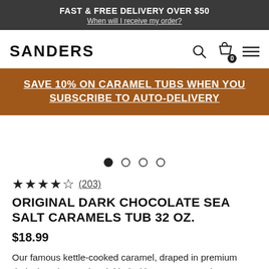FAST & FREE DELIVERY OVER $50
When will I receive my order?
[Figure (logo): Sanders brand logo and navigation icons (search, cart, menu)]
SAVE 10% ON CARAMEL TUBS WHEN YOU SUBSCRIBE TO AUTO-DELIVERY
[Figure (other): Product image carousel with 4 dot indicators, first dot filled]
★★★★☆ (203)
ORIGINAL DARK CHOCOLATE SEA SALT CARAMELS TUB 32 OZ.
$18.99
Our famous kettle-cooked caramel, draped in premium dark chocolate and sprinkled with coarse sea salt. Available in big value-sized 32 oz. tubs, perfect if in a premium dark